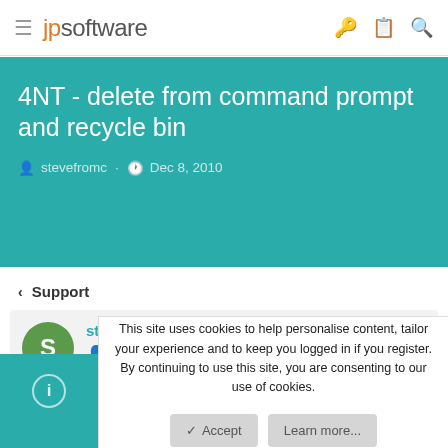jpsoftware
4NT - delete from command prompt and recycle bin
stevefromc · Dec 8, 2010
< Support
stevefromc
This site uses cookies to help personalise content, tailor your experience and to keep you logged in if you register. By continuing to use this site, you are consenting to our use of cookies.